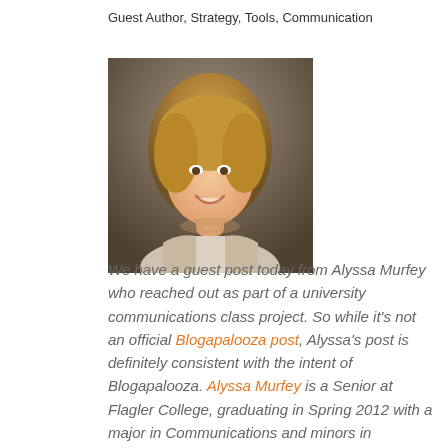Guest Author, Strategy, Tools, Communication
[Figure (photo): Headshot of Alyssa Murfey, a young woman with blonde wavy hair, smiling]
We have a guest post today from Alyssa Murfey who reached out as part of a university communications class project. So while it's not an official Blogapalooza post, Alyssa's post is definitely consistent with the intent of Blogapalooza. Alyssa Murfey is a Senior at Flagler College, graduating in Spring 2012 with a major in Communications and minors in Business and Advertising. She currently works for emfluence, an interactive marketing firm in Kansas City, specializing in